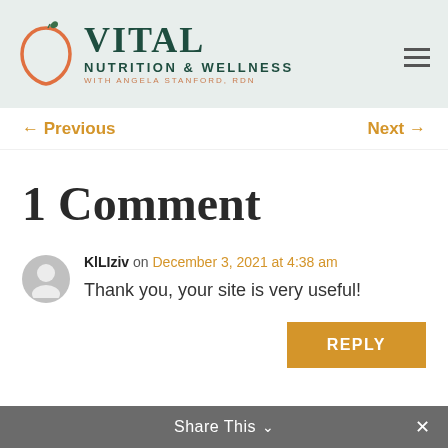[Figure (logo): Vital Nutrition & Wellness logo with apple graphic and text 'VITAL NUTRITION & WELLNESS WITH ANGELA STANFORD, RDN']
← Previous
Next →
1 Comment
KlLIziv on December 3, 2021 at 4:38 am
Thank you, your site is very useful!
REPLY
Share This ∨  ×